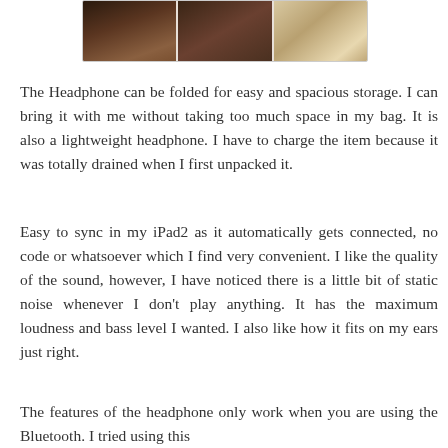[Figure (photo): Strip of three headphone photos side by side]
The Headphone can be folded for easy and spacious storage. I can bring it with me without taking too much space in my bag. It is also a lightweight headphone. I have to charge the item because it was totally drained when I first unpacked it.
Easy to sync in my iPad2 as it automatically gets connected, no code or whatsoever which I find very convenient. I like the quality of the sound, however, I have noticed there is a little bit of static noise whenever I don't play anything. It has the maximum loudness and bass level I wanted. I also like how it fits on my ears just right.
The features of the headphone only work when you are using the Bluetooth. I tried using this